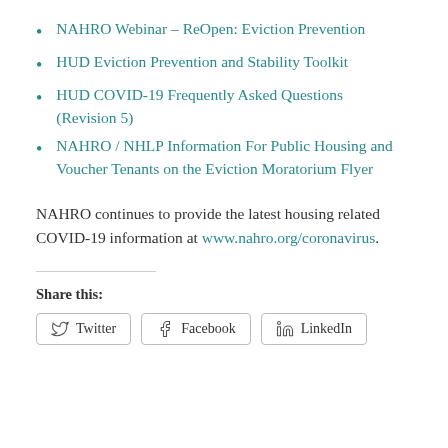NAHRO Webinar – ReOpen: Eviction Prevention
HUD Eviction Prevention and Stability Toolkit
HUD COVID-19 Frequently Asked Questions (Revision 5)
NAHRO / NHLP Information For Public Housing and Voucher Tenants on the Eviction Moratorium Flyer
NAHRO continues to provide the latest housing related COVID-19 information at www.nahro.org/coronavirus.
Share this:
Twitter  Facebook  LinkedIn